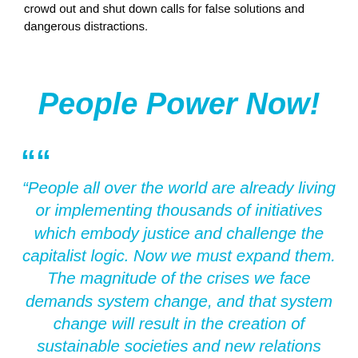crowd out and shut down calls for false solutions and dangerous distractions.
People Power Now!
“People all over the world are already living or implementing thousands of initiatives which embody justice and challenge the capitalist logic. Now we must expand them. The magnitude of the crises we face demands system change, and that system change will result in the creation of sustainable societies and new relations between human beings, and between human beings and nature, based on equality